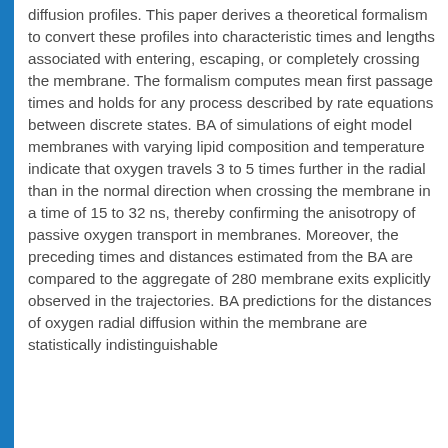diffusion profiles. This paper derives a theoretical formalism to convert these profiles into characteristic times and lengths associated with entering, escaping, or completely crossing the membrane. The formalism computes mean first passage times and holds for any process described by rate equations between discrete states. BA of simulations of eight model membranes with varying lipid composition and temperature indicate that oxygen travels 3 to 5 times further in the radial than in the normal direction when crossing the membrane in a time of 15 to 32 ns, thereby confirming the anisotropy of passive oxygen transport in membranes. Moreover, the preceding times and distances estimated from the BA are compared to the aggregate of 280 membrane exits explicitly observed in the trajectories. BA predictions for the distances of oxygen radial diffusion within the membrane are statistically indistinguishable